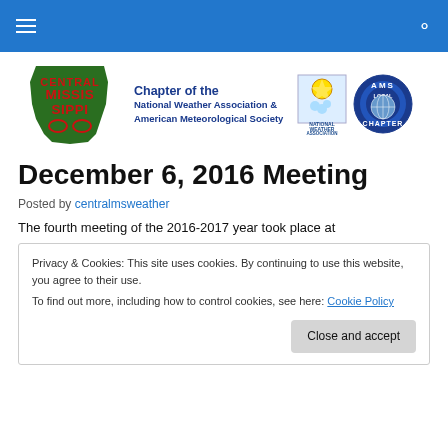Central Mississippi Chapter of the National Weather Association & American Meteorological Society
[Figure (logo): Central Mississippi chapter logo with NWA and AMS local chapter badges]
December 6, 2016 Meeting
Posted by centralmsweather
The fourth meeting of the 2016-2017 year took place at
Privacy & Cookies: This site uses cookies. By continuing to use this website, you agree to their use.
To find out more, including how to control cookies, see here: Cookie Policy
Close and accept